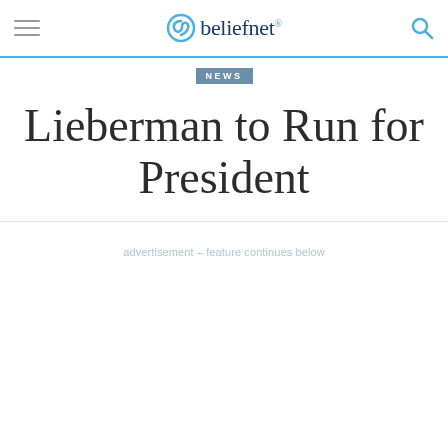beliefnet
NEWS
Lieberman to Run for President
advertisement – feature continues below